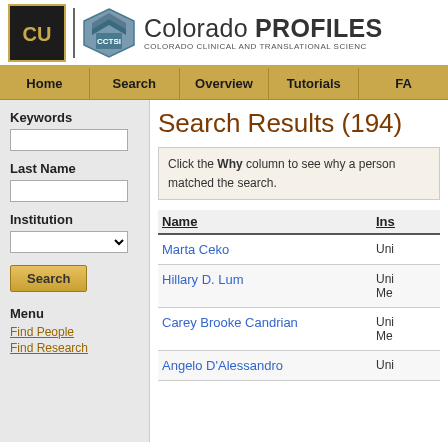Colorado PROFILES — COLORADO CLINICAL AND TRANSLATIONAL SCIENCE
Home | Search | Overview | Tutorials | FA
Keywords
Last Name
Institution
Search Results (194)
Click the Why column to see why a person matched the search.
| Name | Ins |
| --- | --- |
| Marta Ceko | Uni |
| Hillary D. Lum | Uni
Me |
| Carey Brooke Candrian | Uni
Me |
| Angelo D'Alessandro | Uni |
Menu
Find People
Find Research